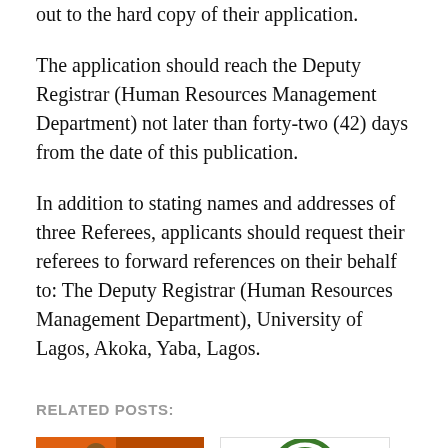out to the hard copy of their application.
The application should reach the Deputy Registrar (Human Resources Management Department) not later than forty-two (42) days from the date of this publication.
In addition to stating names and addresses of three Referees, applicants should request their referees to forward references on their behalf to: The Deputy Registrar (Human Resources Management Department), University of Lagos, Akoka, Yaba, Lagos.
RELATED POSTS:
[Figure (photo): Portrait photo of a person against an orange background]
[Figure (logo): Circular institutional logo with green border and white center with a crown/emblem]